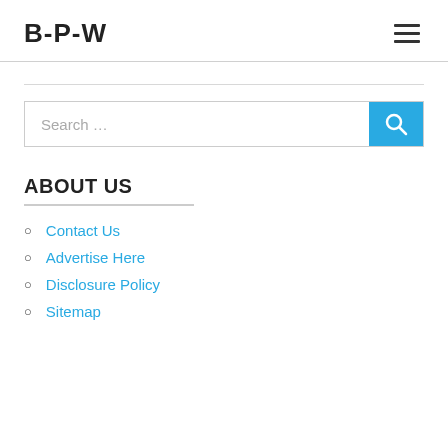B-P-W
Search …
ABOUT US
Contact Us
Advertise Here
Disclosure Policy
Sitemap